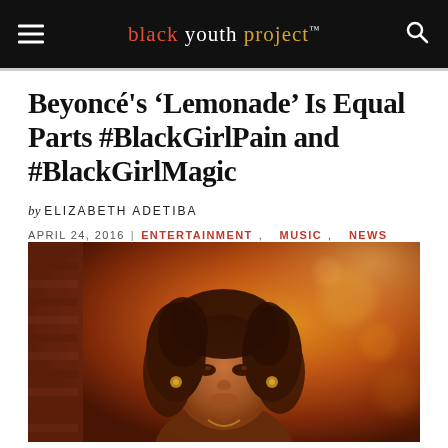black youth project™
Beyoncé's 'Lemonade' Is Equal Parts #BlackGirlPain and #BlackGirlMagic
by ELIZABETH ADETIBA
APRIL 24, 2016  |  ENTERTAINMENT, MUSIC, NEWS
[Figure (photo): Photo of a woman with curly hair, warm orange/gold background with bokeh lighting, facing camera in a cinematic still.]